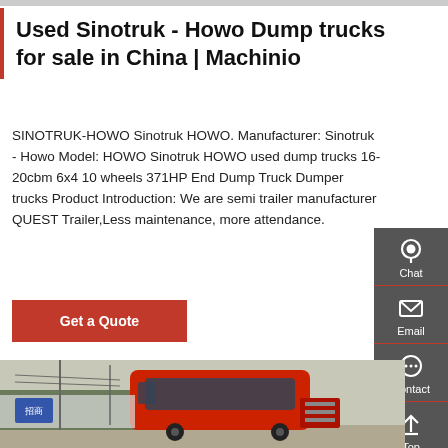Used Sinotruk - Howo Dump trucks for sale in China | Machinio
SINOTRUK-HOWO Sinotruk HOWO. Manufacturer: Sinotruk - Howo Model: HOWO Sinotruk HOWO used dump trucks 16-20cbm 6x4 10 wheels 371HP End Dump Truck Dumper trucks Product Introduction: We are semi trailer manufacturer QUEST Trailer,Less maintenance, more attendance.
[Figure (screenshot): Red 'Get a Quote' button]
[Figure (photo): Photo of a red Sinotruk HOWO dump truck cab parked outdoors, with Chinese signage visible in the background]